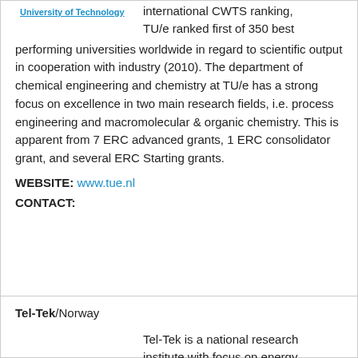University of Technology
international CWTS ranking, TU/e ranked first of 350 best performing universities worldwide in regard to scientific output in cooperation with industry (2010). The department of chemical engineering and chemistry at TU/e has a strong focus on excellence in two main research fields, i.e. process engineering and macromolecular & organic chemistry. This is apparent from 7 ERC advanced grants, 1 ERC consolidator grant, and several ERC Starting grants.
WEBSITE: www.tue.nl
CONTACT:
Tel-Tek/Norway
[Figure (logo): Tel-Tek logo with blue/grey geometric arrow shape]
Tel-Tek is a national research institute with focus on energy